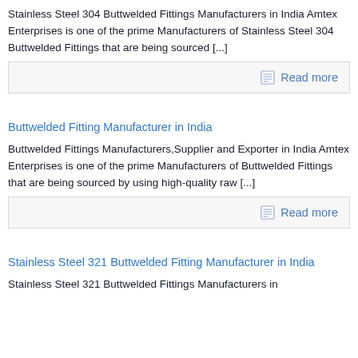Stainless Steel 304 Buttwelded Fittings Manufacturers in India Amtex Enterprises is one of the prime Manufacturers of Stainless Steel 304 Buttwelded Fittings that are being sourced [...]
Read more
Buttwelded Fitting Manufacturer in India
Buttwelded Fittings Manufacturers,Supplier and Exporter in India Amtex Enterprises is one of the prime Manufacturers of Buttwelded Fittings that are being sourced by using high-quality raw [...]
Read more
Stainless Steel 321 Buttwelded Fitting Manufacturer in India
Stainless Steel 321 Buttwelded Fittings Manufacturers in